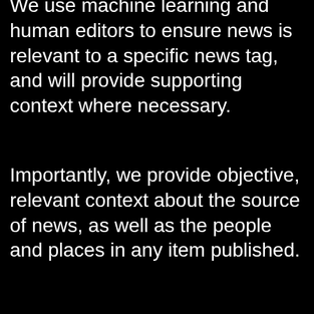We use machine learning and human editors to ensure news is relevant to a specific news tag, and will provide supporting context where necessary.
Importantly, we provide objective, relevant context about the source of news, as well as the people and places in any item published.
Very Fast
News websites are often slow. Lot's of innovation in this space, but the standard homepage on a news website will take a long time to load. This site loads in under 0.2 seconds, on a fast connection, and should load very fast even on a slow